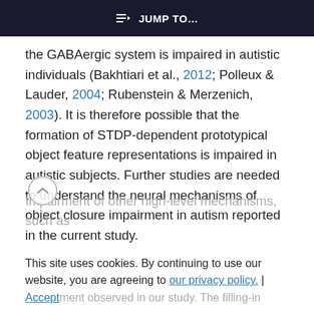≡D JUMP TO…
the GABAergic system is impaired in autistic individuals (Bakhtiari et al., 2012; Polleux & Lauder, 2004; Rubenstein & Merzenich, 2003). It is therefore possible that the formation of STDP-dependent prototypical object feature representations is impaired in autistic subjects. Further studies are needed to understand the neural mechanisms of object closure impairment in autism reported in the current study.
Impairment of other high-level mechanisms, such as
This site uses cookies. By continuing to use our website, you are agreeing to our privacy policy. | Accept
impairment observed in our study. The filling-in